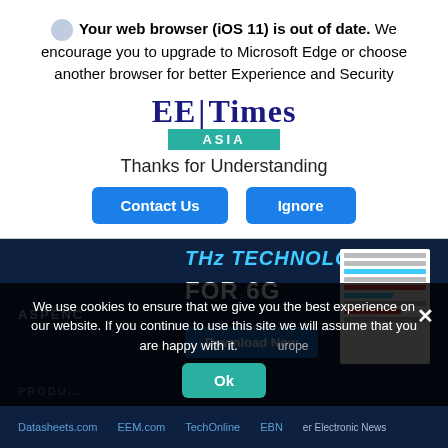Your web browser (iOS 11) is out of date. We encourage you to upgrade to Microsoft Edge or choose another browser for better Experience and Security
[Figure (logo): EE Times Asia logo with teal ASIA bar]
Thanks for Understanding
Contact Us   Ignore
[Figure (screenshot): Background ad: THz Technology for 6G with Download Now button, ASPENC text, and white paper thumbnail]
We use cookies to ensure that we give you the best experience on our website. If you continue to use this site we will assume that you are happy with it.
Ok